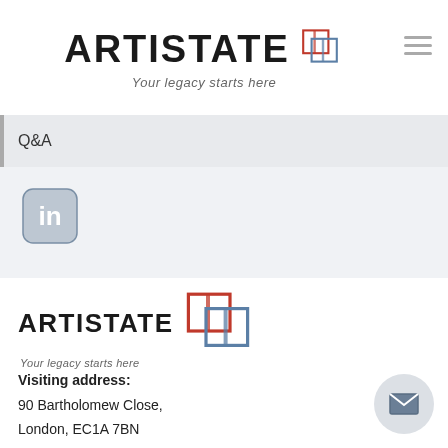ARTISTATE — Your legacy starts here
Q&A
[Figure (logo): LinkedIn icon — rounded square with 'in' text]
[Figure (logo): Artistate logo with overlapping squares icon and tagline 'Your legacy starts here']
Visiting address:
90 Bartholomew Close,
London, EC1A 7BN
Mail address:
New Derwent House,
69-73 Theobalds Road,